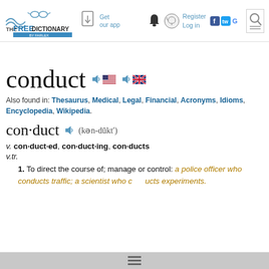THE FREE DICTIONARY by Farlex | Get our app | Register | Log in
conduct
Also found in: Thesaurus, Medical, Legal, Financial, Acronyms, Idioms, Encyclopedia, Wikipedia.
con·duct (kən-dūkt′)
v. con·duct·ed, con·duct·ing, con·ducts
v.tr.
1. To direct the course of; manage or control: a police officer who conducts traffic; a scientist who conducts experiments.